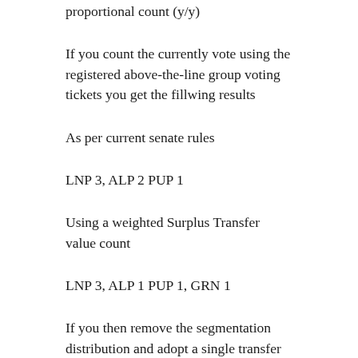proportional count (y/y)
If you count the currently vote using the registered above-the-line group voting tickets you get the fillwing results
As per current senate rules
LNP 3, ALP 2 PUP 1
Using a weighted Surplus Transfer value count
LNP 3, ALP 1 PUP 1, GRN 1
If you then remove the segmentation distribution and adopt a single transfer reiterative count which reflects more